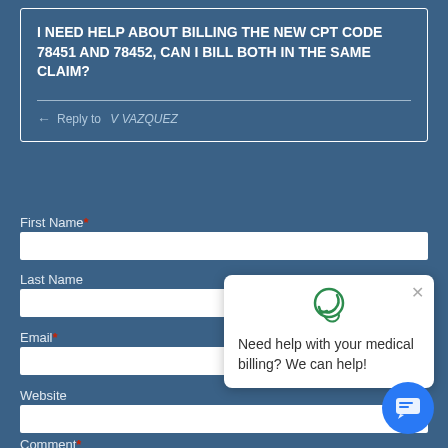I NEED HELP ABOUT BILLING THE NEW CPT CODE 78451 AND 78452, CAN I BILL BOTH IN THE SAME CLAIM?
← Reply to V VAZQUEZ
First Name*
Last Name
Email*
Website
Comment*
Need help with your medical billing? We can help!